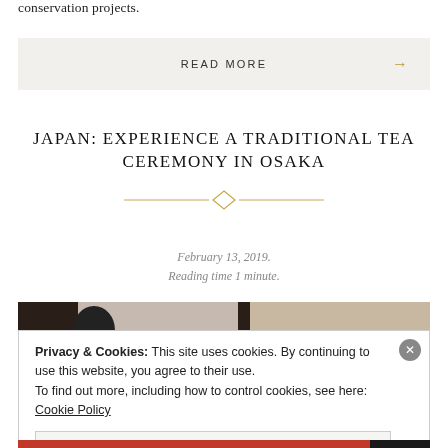conservation projects.
READ MORE →
JAPAN: EXPERIENCE A TRADITIONAL TEA CEREMONY IN OSAKA
February 13, 2019.
Reading time 1 minute.
[Figure (photo): Partial photo of a person attending a traditional tea ceremony in Osaka, partially visible at the bottom of the page]
Privacy & Cookies: This site uses cookies. By continuing to use this website, you agree to their use.
To find out more, including how to control cookies, see here: Cookie Policy
Close and accept